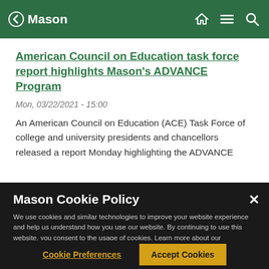Mason — navigation bar with home, menu, search icons
American Council on Education task force report highlights Mason's ADVANCE Program
Mon, 03/22/2021 - 15:00
An American Council on Education (ACE) Task Force of college and university presidents and chancellors released a report Monday highlighting the ADVANCE
Mason Cookie Policy
We use cookies and similar technologies to improve your website experience and help us understand how you use our website. By continuing to use this website, you consent to the usage of cookies. Learn more about our Cookie Policy
Cookie Preferences
Accept Cookies